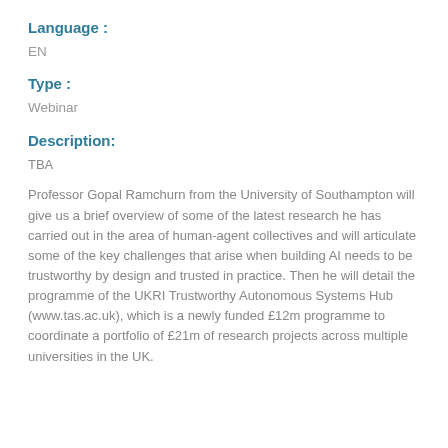Language :
EN
Type :
Webinar
Description:
TBA
Professor Gopal Ramchurn from the University of Southampton will give us a brief overview of some of the latest research he has carried out in the area of human-agent collectives and will articulate some of the key challenges that arise when building AI needs to be trustworthy by design and trusted in practice. Then he will detail the programme of the UKRI Trustworthy Autonomous Systems Hub (www.tas.ac.uk), which is a newly funded £12m programme to coordinate a portfolio of £21m of research projects across multiple universities in the UK.